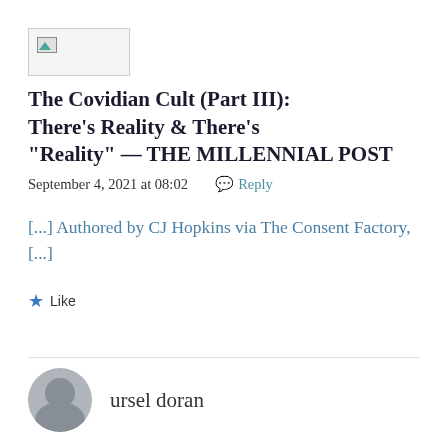[Figure (other): Broken/placeholder image thumbnail with green/landscape icon]
The Covidian Cult (Part III): There's Reality & There's "Reality" — THE MILLENNIAL POST
September 4, 2021 at 08:02   💬 Reply
[...] Authored by CJ Hopkins via The Consent Factory, [...]
★ Like
[Figure (illustration): Gray circular avatar/profile placeholder icon]
ursel doran